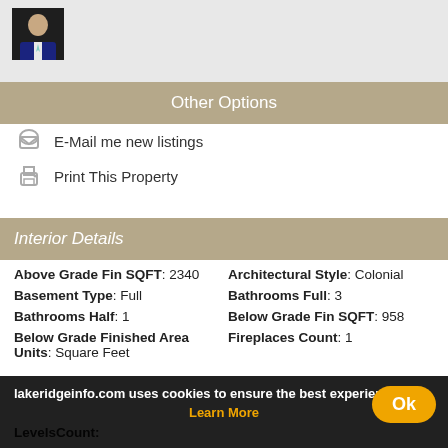[Figure (photo): Agent headshot photo in dark suit and tie, small thumbnail]
Other Options
E-Mail me new listings
Print This Property
Interior Details
| Above Grade Fin SQFT: 2340 | Architectural Style: Colonial |
| Basement Type: Full | Bathrooms Full: 3 |
| Bathrooms Half: 1 | Below Grade Fin SQFT: 958 |
| Below Grade Finished Area Units: Square Feet | Fireplaces Count: 1 |
| LevelsCount: |  |
lakeridgeinfo.com uses cookies to ensure the best experience
Learn More